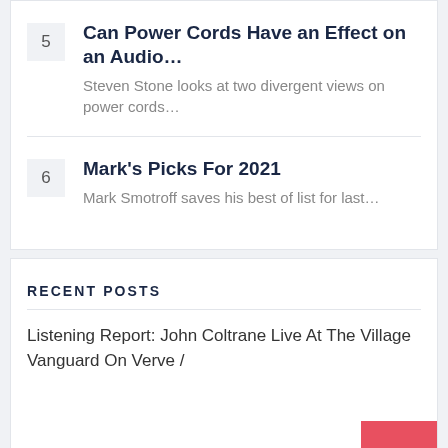5 — Can Power Cords Have an Effect on an Audio… — Steven Stone looks at two divergent views on power cords…
6 — Mark's Picks For 2021 — Mark Smotroff saves his best of list for last…
RECENT POSTS
Listening Report: John Coltrane Live At The Village Vanguard On Verve /